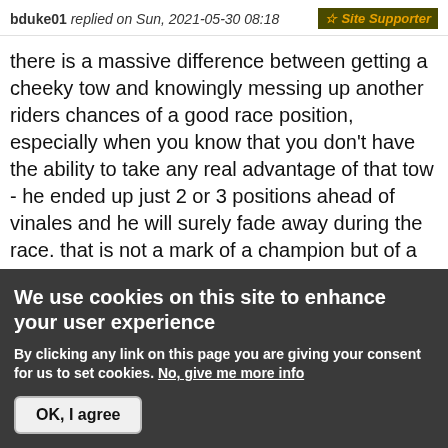bduke01 replied on Sun, 2021-05-30 08:18 | Site Supporter
there is a massive difference between getting a cheeky tow and knowingly messing up another riders chances of a good race position, especially when you know that you don't have the ability to take any real advantage of that tow - he ended up just 2 or 3 positions ahead of vinales and he will surely fade away during the race. that is not a mark of a champion but of a desperate person with at best total lack of judgement
Log in or register to post comments
We use cookies on this site to enhance your user experience
By clicking any link on this page you are giving your consent for us to set cookies. No, give me more info
OK, I agree